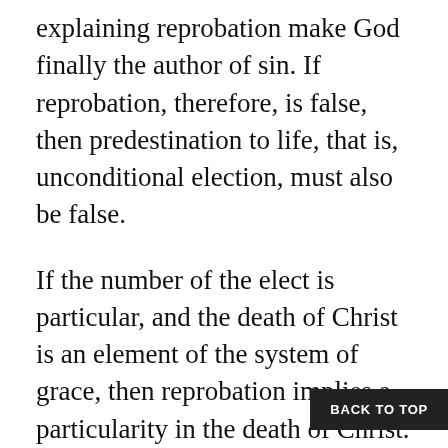explaining reprobation make God finally the author of sin. If reprobation, therefore, is false, then predestination to life, that is, unconditional election, must also be false.
If the number of the elect is particular, and the death of Christ is an element of the system of grace, then reprobation implies a particularity in the death of Christ. Arminius, therefore, was willing to defend the proposition, “The price of the death of Christ was given for all and for every one.” He wanted those who rejected this view of universality of provision look closely at the language of Scripture that, in immediate
BACK TO TOP